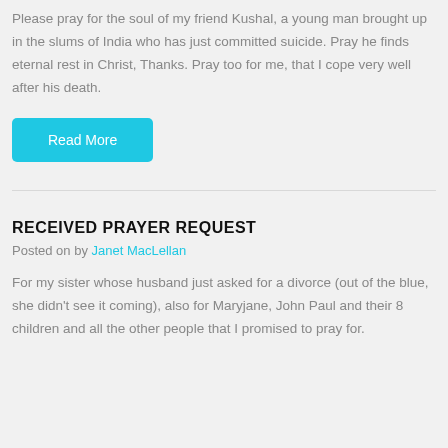Please pray for the soul of my friend Kushal, a young man brought up in the slums of India who has just committed suicide. Pray he finds eternal rest in Christ, Thanks. Pray too for me, that I cope very well after his death.
Read More
RECEIVED PRAYER REQUEST
Posted on by Janet MacLellan
For my sister whose husband just asked for a divorce (out of the blue, she didn't see it coming), also for Maryjane, John Paul and their 8 children and all the other people that I promised to pray for.